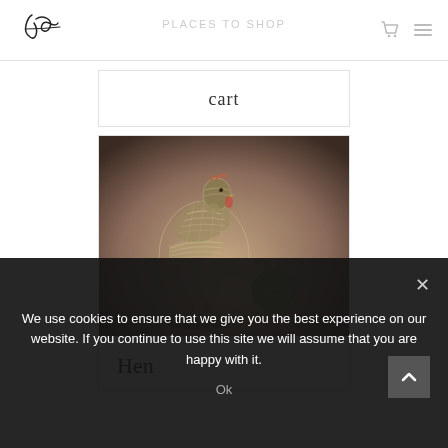[Figure (logo): Handwritten cursive logo signature 'Jds' with a horizontal line through it]
cart
[Figure (photo): A decorative wire mesh or metal sculpture of a hen/chicken in a warm brownish-purple lit setting, with a smaller similar object beside it]
Hen
We use cookies to ensure that we give you the best experience on our website. If you continue to use this site we will assume that you are happy with it.
Ok